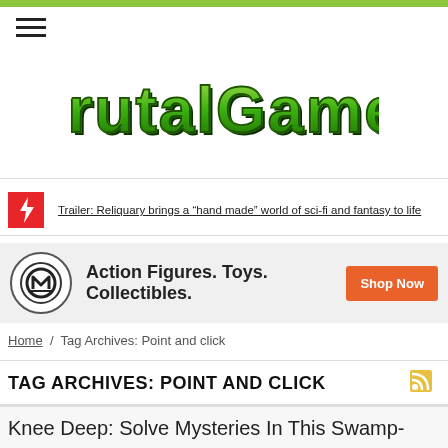BrutalGamer
Trailer: Reliquary brings a “hand made” world of sci-fi and fantasy to life
[Figure (infographic): Action Figures. Toys. Collectibles. advertisement banner with Mezco logo and Shop Now button]
Home / Tag Archives: Point and click
TAG ARCHIVES: POINT AND CLICK
Knee Deep: Solve Mysteries In This Swamp-